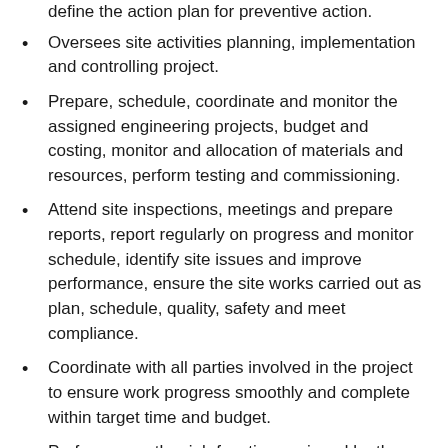define the action plan for preventive action.
Oversees site activities planning, implementation and controlling project.
Prepare, schedule, coordinate and monitor the assigned engineering projects, budget and costing, monitor and allocation of materials and resources, perform testing and commissioning.
Attend site inspections, meetings and prepare reports, report regularly on progress and monitor schedule, identify site issues and improve performance, ensure the site works carried out as plan, schedule, quality, safety and meet compliance.
Coordinate with all parties involved in the project to ensure work progress smoothly and complete within target time and budget.
Perform any other job function assigned by the superior.